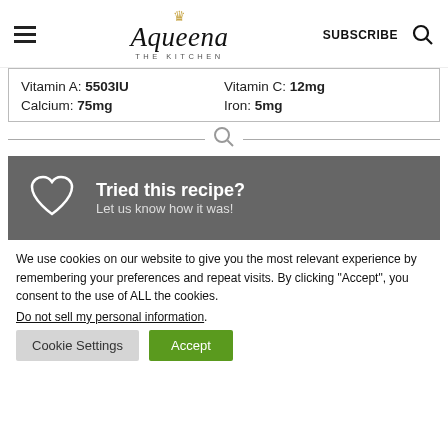Aqueena THE KITCHEN | SUBSCRIBE
| Vitamin A: 5503IU | Vitamin C: 12mg |
| Calcium: 75mg | Iron: 5mg |
[Figure (infographic): Tried this recipe? Let us know how it was! banner with heart icon on grey background]
We use cookies on our website to give you the most relevant experience by remembering your preferences and repeat visits. By clicking “Accept”, you consent to the use of ALL the cookies. Do not sell my personal information.
Cookie Settings | Accept